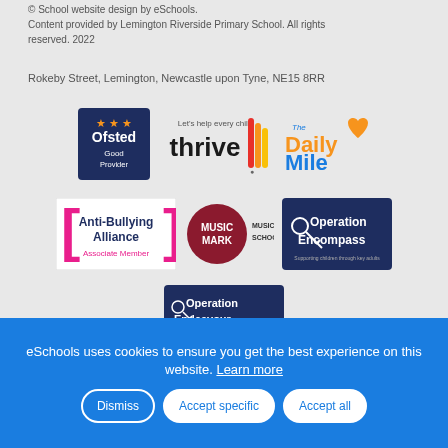© School website design by eSchools. Content provided by Lemington Riverside Primary School. All rights reserved. 2022
Rokeby Street, Lemington, Newcastle upon Tyne, NE15 8RR
[Figure (logo): Ofsted Good Provider logo - dark navy background with orange stars]
[Figure (logo): Let's help every child thrive - colourful striped logo]
[Figure (logo): The Daily Mile logo - orange heart with yellow text]
[Figure (logo): Anti-Bullying Alliance Associate Member logo - pink brackets on white]
[Figure (logo): Music Mark School logo - red circle with white text]
[Figure (logo): Operation Encompass logo - dark navy background]
[Figure (logo): Operation Endeavour logo - dark navy background]
eSchools uses cookies to ensure you get the best experience on this website. Learn more
Dismiss
Accept specific
Accept all